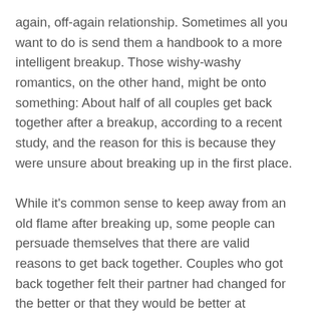again, off-again relationship. Sometimes all you want to do is send them a handbook to a more intelligent breakup. Those wishy-washy romantics, on the other hand, might be onto something: About half of all couples get back together after a breakup, according to a recent study, and the reason for this is because they were unsure about breaking up in the first place.

While it’s common sense to keep away from an old flame after breaking up, some people can persuade themselves that there are valid reasons to get back together. Couples who got back together felt their partner had changed for the better or that they would be better at communicating, according to a 2013 Kansas State University study that